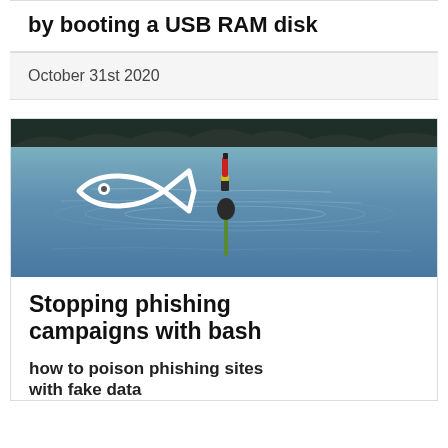by booting a USB RAM disk
October 31st 2020
[Figure (photo): A fishing float/bobber on a calm blue water surface with a white fish icon overlay on the left side. Dark treeline silhouette visible at the top of the image.]
Stopping phishing campaigns with bash
how to poison phishing sites with fake data